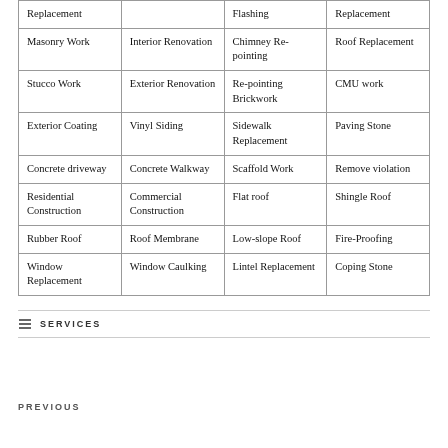| Col1 | Col2 | Col3 | Col4 |
| --- | --- | --- | --- |
| Replacement |  | Flashing | Replacement |
| Masonry Work | Interior Renovation | Chimney Re-pointing | Roof Replacement |
| Stucco Work | Exterior Renovation | Re-pointing Brickwork | CMU work |
| Exterior Coating | Vinyl Siding | Sidewalk Replacement | Paving Stone |
| Concrete driveway | Concrete Walkway | Scaffold Work | Remove violation |
| Residential Construction | Commercial Construction | Flat roof | Shingle Roof |
| Rubber Roof | Roof Membrane | Low-slope Roof | Fire-Proofing |
| Window Replacement | Window Caulking | Lintel Replacement | Coping Stone |
SERVICES
PREVIOUS